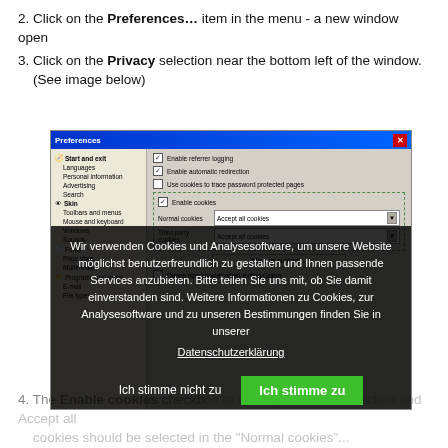2. Click on the Preferences… item in the menu - a new window open
3. Click on the Privacy selection near the bottom left of the window. (See image below)
[Figure (screenshot): Screenshot of Opera Preferences dialog window showing privacy/cookie settings with sidebar navigation and cookie options including 'Enable cookies', 'Accept all cookies' dropdowns, overlaid with a German cookie consent banner reading 'Wir verwenden Cookies und Analysesoftware...' with 'Ich stimme nicht zu' and 'Ich stimme zu' buttons]
4. The Enable cookies checkbox at the top should be checked and Accept all cookies should be selected in the 'Normal cookies'...